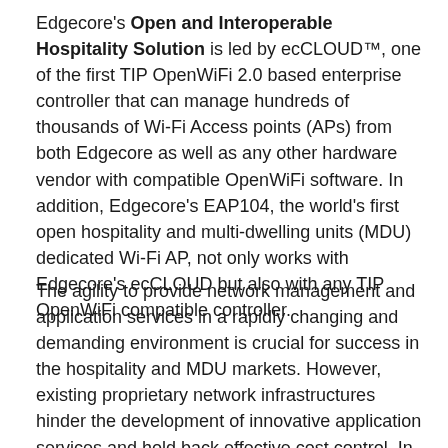Edgecore's Open and Interoperable Hospitality Solution is led by ecCLOUD™, one of the first TIP OpenWiFi 2.0 based enterprise controller that can manage hundreds of thousands of Wi-Fi Access points (APs) from both Edgecore as well as any other hardware vendor with compatible OpenWiFi software. In addition, Edgecore's EAP104, the world's first open hospitality and multi-dwelling units (MDU) dedicated Wi-Fi AP, not only works with Edgecore's ecCLOUD but also with any TIP OpenWiFi compatible controller.
The agility to provide network management and application services in a rapidly changing and demanding environment is crucial for success in the hospitality and MDU markets. However, existing proprietary network infrastructures hinder the development of innovative application services and hold back effective cost control. In view of this, Edgecore has actively led the way adopting the Telecom Infra Project's (TIP) OpenWiFi standardization and...